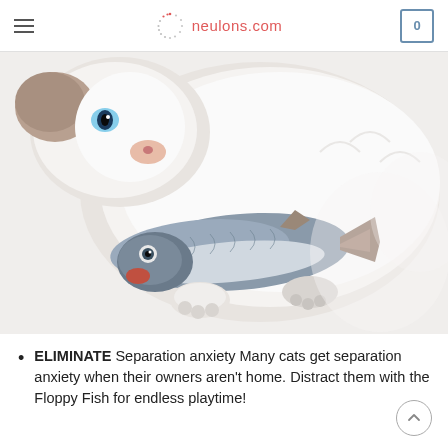neulons.com
[Figure (photo): A white fluffy cat holding a realistic fish-shaped plush toy between its paws, on a white background.]
ELIMINATE Separation anxiety Many cats get separation anxiety when their owners aren't home. Distract them with the Floppy Fish for endless playtime!